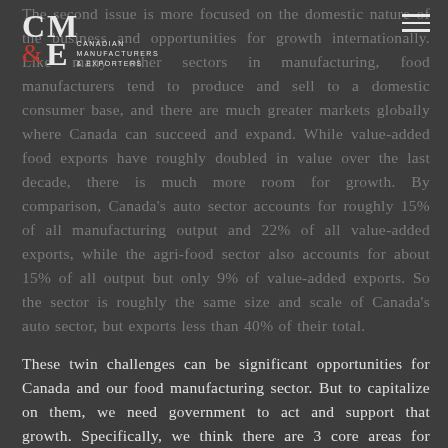CM&E Canadian Manufacturers & Exporters
The second issue is more focused on the domestic nature of the business and opportunities for growth internationally. Like many other sectors in manufacturing, food manufacturers tend to produce and sell to a domestic consumer base, and there are much greater markets globally where Canada can succeed and expand. While value-added food exports have roughly doubled in value over the last decade, there is much more room for growth. By comparison, Canada's auto sector accounts for roughly 15% of all manufacturing output and 22% of all value-added exports, while the agri-food sector also accounts for about 15% of all output but only 9% of value-added exports. So the sector is roughly the same size and scale of Canada's auto sector, but exports less than 40% of their total.
These twin challenges can be significant opportunities for Canada and our food manufacturing sector. But to capitalize on them, we need government to act and support that growth. Specifically, we think there are 3 core areas for government to focus its attention:
1. Create a competitive business environment that reduces